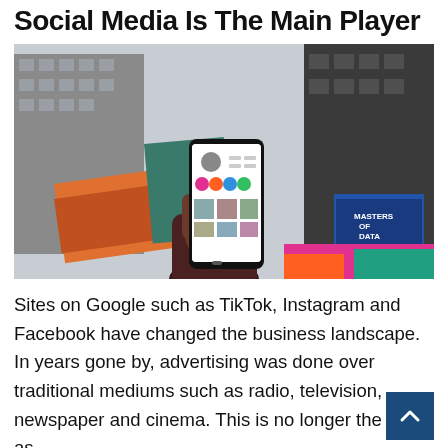Social Media Is The Main Player
[Figure (photo): A hand holding a smartphone displaying an Instagram profile, photographed from below against a backdrop of tall city buildings and colorful advertising billboards, urban Times Square-style setting.]
Sites on Google such as TikTok, Instagram and Facebook have changed the business landscape. In years gone by, advertising was done over traditional mediums such as radio, television, newspaper and cinema. This is no longer the case as